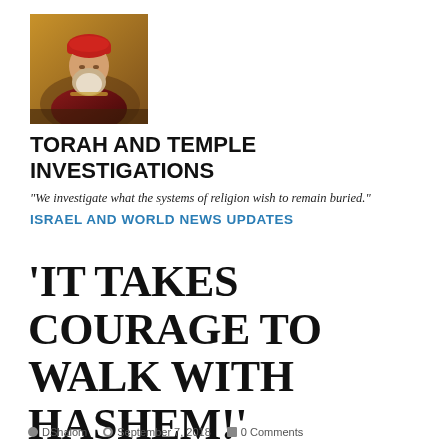[Figure (photo): Artistic religious illustration of a bearded rabbi/elder figure in colorful robes, red headwear, warm gold/brown tones]
TORAH AND TEMPLE INVESTIGATIONS
"We investigate what the systems of religion wish to remain buried."
ISRAEL AND WORLD NEWS UPDATES
'IT TAKES COURAGE TO WALK WITH HASHEM!'
DShalom   September 7, 2018   0 Comments